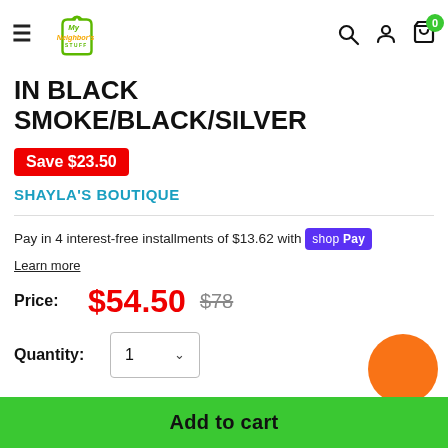My Neighbor's Stuff — navigation header with search, account, cart (0)
IN BLACK SMOKE/BLACK/SILVER
Save $23.50
SHAYLA'S BOUTIQUE
Pay in 4 interest-free installments of $13.62 with shop Pay
Learn more
Price: $54.50  $78
Quantity: 1
Add to cart